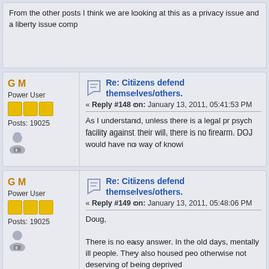From the other posts I think we are looking at this as a privacy issue and a liberty issue comp
G M
Power User
Posts: 19025
Re: Citizens defend themselves/others.
« Reply #148 on: January 13, 2011, 05:41:53 PM
As I understand, unless there is a legal pr psych facility against their will, there is no firearm. DOJ would have no way of knowi
G M
Power User
Posts: 19025
Re: Citizens defend themselves/others.
« Reply #149 on: January 13, 2011, 05:48:06 PM
Doug,
There is no easy answer. In the old days, mentally ill people. They also housed peo otherwise not deserving of being deprived